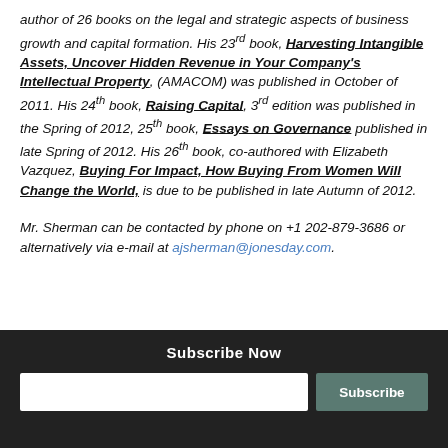author of 26 books on the legal and strategic aspects of business growth and capital formation.  His 23rd book, Harvesting Intangible Assets, Uncover Hidden Revenue in Your Company's Intellectual Property, (AMACOM) was published in October of 2011.  His 24th book, Raising Capital, 3rd edition was published in the Spring of 2012, 25th book, Essays on Governance published in late Spring of 2012.  His 26th book, co-authored with Elizabeth Vazquez, Buying For Impact, How Buying From Women Will Change the World, is due to be published in late Autumn of 2012.

Mr. Sherman can be contacted by phone on +1 202-879-3686 or alternatively via e-mail  at ajsherman@jonesday.com.
Subscribe Now